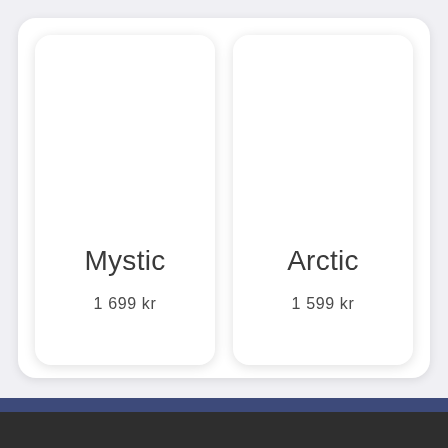Mystic
1 699 kr
Arctic
1 599 kr